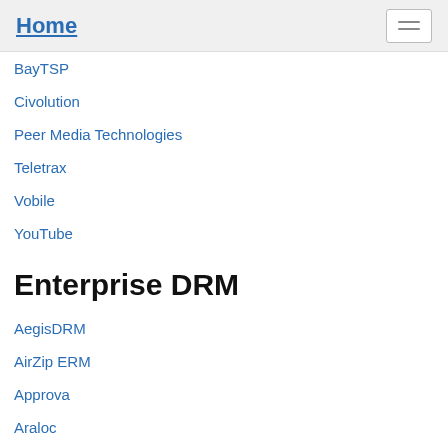Home
BayTSP
Civolution
Peer Media Technologies
Teletrax
Vobile
YouTube
Enterprise DRM
AegisDRM
AirZip ERM
Approva
Araloc